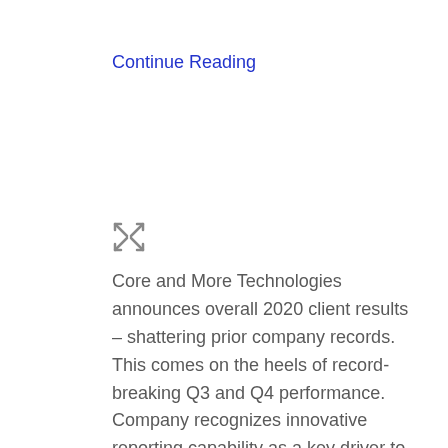Continue Reading
[Figure (other): Expand/fullscreen icon — two diagonal arrows pointing outward in a cross pattern, rendered in gray]
Core and More Technologies announces overall 2020 client results – shattering prior company records. This comes on the heels of record-breaking Q3 and Q4 performance. Company recognizes innovative reporting capability as a key driver to increased client investments in their marketing programs.